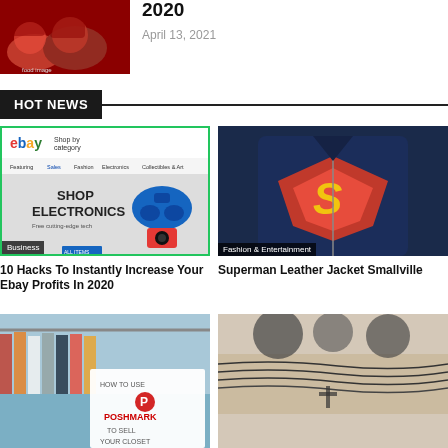[Figure (photo): Red cookware bowls with food]
2020
April 13, 2021
HOT NEWS
[Figure (screenshot): eBay website screenshot showing Shop Electronics with a blue PS4 controller and red camera]
Business
10 Hacks To Instantly Increase Your Ebay Profits In 2020
[Figure (photo): Superman leather jacket Smallville with red and yellow S logo]
Fashion & Entertainment
Superman Leather Jacket Smallville
[Figure (photo): How to use Poshmark to sell your closet - clothes on rack]
[Figure (photo): Tattoo on skin - cross design with wires]